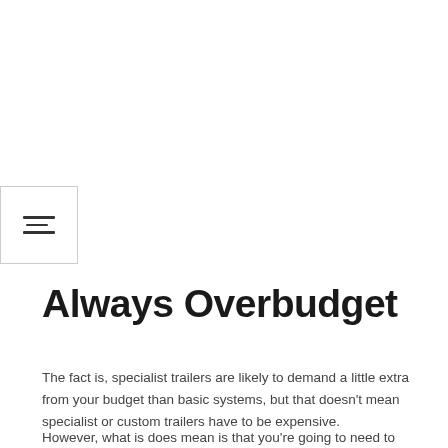[Figure (other): Hamburger/filter menu icon button — three horizontal lines with the middle line shorter, inside a square bordered box]
Always Overbudget
The fact is, specialist trailers are likely to demand a little extra from your budget than basic systems, but that doesn't mean specialist or custom trailers have to be expensive.
However, what is does mean is that you're going to need to keep an open mind. If you're already aware of how much standard flatbeds cost, for example, be sure to overbudget on that. It always pays to save more money than you need, rather than too little.